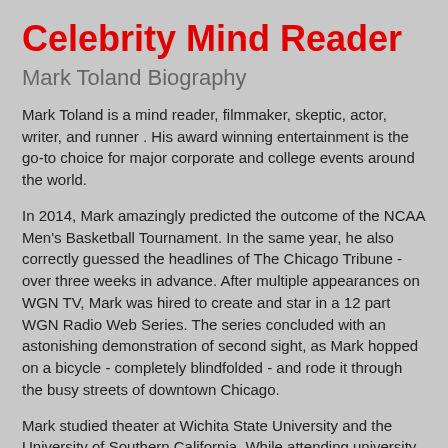Celebrity Mind Reader
Mark Toland Biography
Mark Toland is a mind reader, filmmaker, skeptic, actor, writer, and runner . His award winning entertainment is the go-to choice for major corporate and college events around the world.
In 2014, Mark amazingly predicted the outcome of the NCAA Men's Basketball Tournament. In the same year, he also correctly guessed the headlines of The Chicago Tribune - over three weeks in advance. After multiple appearances on WGN TV, Mark was hired to create and star in a 12 part WGN Radio Web Series. The series concluded with an astonishing demonstration of second sight, as Mark hopped on a bicycle - completely blindfolded - and rode it through the busy streets of downtown Chicago.
Mark studied theater at Wichita State University and the University of Southern California. While attending university he was a member of the prestigious Junior Program at the world famous Magic Castle in Hollywood. He is a also a member of the